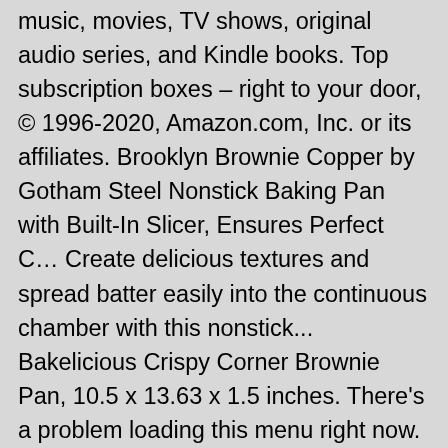music, movies, TV shows, original audio series, and Kindle books. Top subscription boxes – right to your door, © 1996-2020, Amazon.com, Inc. or its affiliates. Brooklyn Brownie Copper by Gotham Steel Nonstick Baking Pan with Built-In Slicer, Ensures Perfect C… Create delicious textures and spread batter easily into the continuous chamber with this nonstick... Bakelicious Crispy Corner Brownie Pan, 10.5 x 13.63 x 1.5 inches. There's a problem loading this menu right now. Wilton Perfect Results Premium Non-Stick Bakeware Bar Baking Pan, Ideal for Brownies, Cakes and Bar-Cookies, 12-Cavity, Non Stick Brownie Pans with Dividers, High Carbon Steel Baking Pan, Makes 18 Pre-cut Brownies All at Once, Brownie Pan, Non Stick Brownie Pans With Dividers, 18 Pre-slice Brownie Baking Tray, Carbon Steel Bakeware for Oven Baking, Size 12 X 8 X 2 Inches, Brownie Pan,Non Stick Brownie Pans With Dividers,18 Pre-slice Brownie Baking Tray,High Carbon Steel Baking Pan for